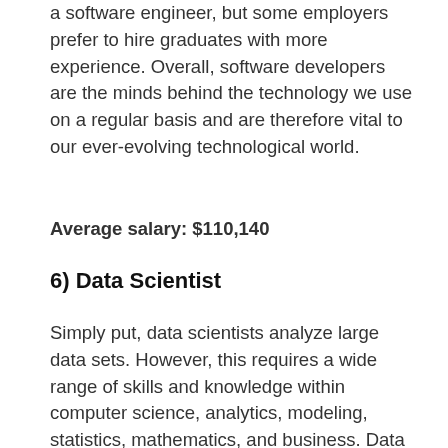a software engineer, but some employers prefer to hire graduates with more experience. Overall, software developers are the minds behind the technology we use on a regular basis and are therefore vital to our ever-evolving technological world.
Average salary: $110,140
6) Data Scientist
Simply put, data scientists analyze large data sets. However, this requires a wide range of skills and knowledge within computer science, analytics, modeling, statistics, mathematics, and business. Data scientists make sense of complex data that can help inform the strategies and messages of businesses/organizations/governments. As a data scientist, you must be comfortable interpreting data and extracting meaning from numbers. To become a data